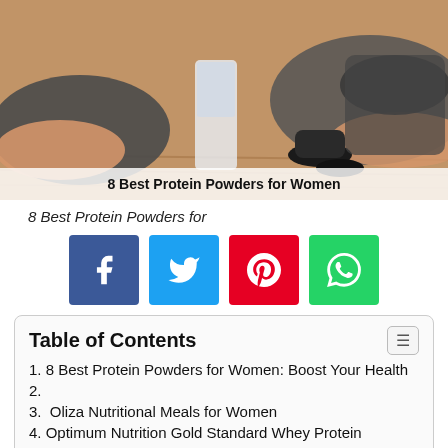[Figure (photo): Hero image of person doing push-ups with a glass and protein powder container on a wooden surface. Text overlay reads '8 Best Protein Powders for Women']
8 Best Protein Powders for
[Figure (infographic): Social share buttons: Facebook (blue), Twitter (light blue), Pinterest (red), WhatsApp (green)]
| Table of Contents |
| --- |
| 1. 8 Best Protein Powders for Women: Boost Your Health |
| 2. |
| 3.  Oliza Nutritional Meals for Women |
| 4. Optimum Nutrition Gold Standard Whey Protein |
| 5. Isopure Zero Carb 100% Whey Protein Isolate Powder |
| 6. Healthoxide Women's Protein |
| 7. Fitmiss Delight Women Protein Shake |
| 8. Pro Nutrition Labs Protein Powder |